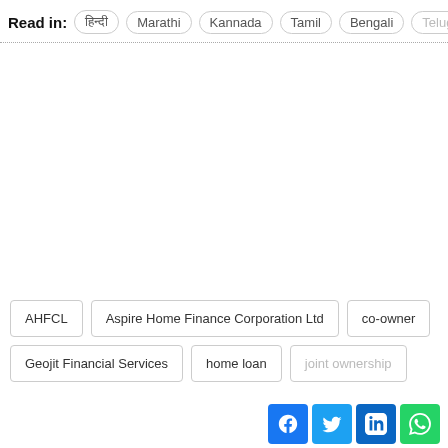Read in: हिन्दी  Marathi  Kannada  Tamil  Bengali  Telugu
AHFCL
Aspire Home Finance Corporation Ltd
co-owner
Geojit Financial Services
home loan
joint ownership